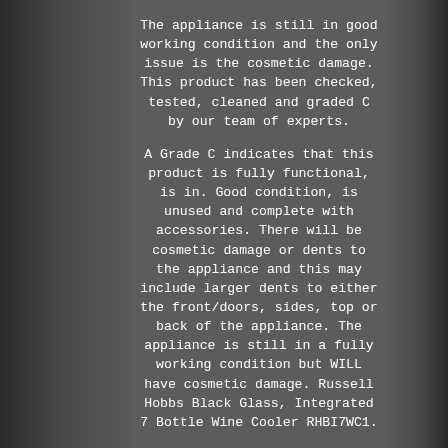The appliance is still in good working condition and the only issue is the cosmetic damage. This product has been checked, tested, cleaned and graded C by our team of experts.

A Grade C indicates that this product is fully functional, is in. Good condition, is unused and complete with accessories. There will be cosmetic damage or dents to the appliance and this may include larger dents to either the front/doors, sides, top or back of the appliance. The appliance is still in a fully working condition but WILL have cosmetic damage. Russell Hobbs Black Glass, Integrated 7 Bottle Wine Cooler RHBI7WC1.